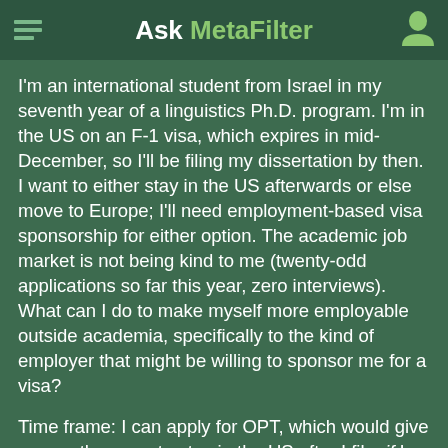Ask MetaFilter
I'm an international student from Israel in my seventh year of a linguistics Ph.D. program. I'm in the US on an F-1 visa, which expires in mid-December, so I'll be filing my dissertation by then. I want to either stay in the US afterwards or else move to Europe; I'll need employment-based visa sponsorship for either option. The academic job market is not being kind to me (twenty-odd applications so far this year, zero interviews). What can I do to make myself more employable outside academia, specifically to the kind of employer that might be willing to sponsor me for a visa?
Time frame: I can apply for OPT, which would give me another year to stay in the US after I file, if I can find employment related to my degree. So best case scenario (file in December, get a continuous OPT job for a year), I have until December 2015 to find long-term visa-sponsored